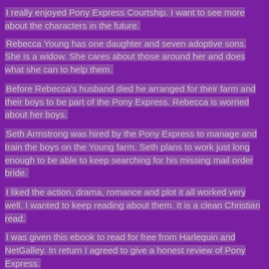I really enjoyed Pony Express Courtship.  I want to see more about the characters in the future.
Rebecca Young has one daughter and seven adoptive sons.  She is a widow.  She cares about those around her and does what she can to help them.
Before Rebecca's husband died he arranged for their farm and their boys to  be part of the Pony Express.  Rebecca is worried about her boys.
Seth Armstrong was hired by the Pony Express to manage and train the boys on the Young farm.  Seth plans to work just long enough to be able to keep searching for his missing mail order bride.
I liked the action, drama, romance and plot it all worked very well.  I wanted to keep reading about them.  It is a clean Christian read.
I was given this ebook to read for free from Harlequin and NetGalley.  In return I agreed to give a honest review of Pony Express.